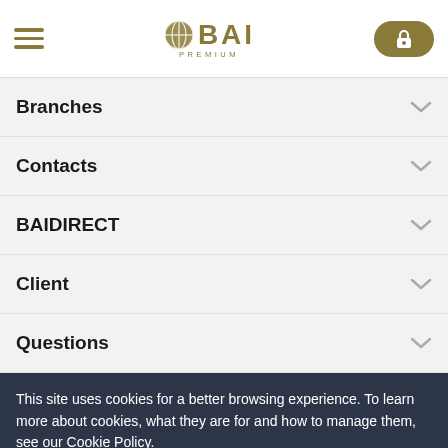BAI PREMIUM
Branches
Contacts
BAIDIRECT
Client
Questions
This site uses cookies for a better browsing experience. To learn more about cookies, what they are for and how to manage them, see our Cookie Policy.
Close